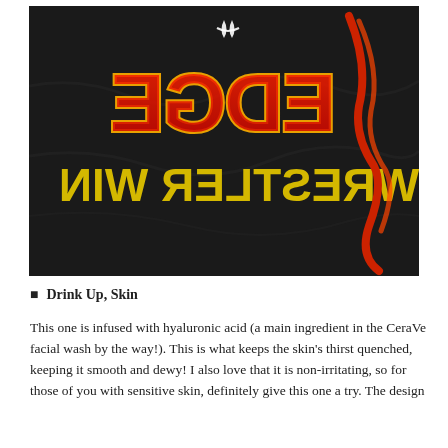[Figure (photo): Close-up photo of a black Under Armour hoodie with mirrored/reversed red and yellow text that reads 'EDGE WRESTLER WIN' (shown as mirrored lettering). The Under Armour logo is visible at the top center.]
Drink Up, Skin
This one is infused with hyaluronic acid (a main ingredient in the CeraVe facial wash by the way!). This is what keeps the skin's thirst quenched, keeping it smooth and dewy! I also love that it is non-irritating, so for those of you with sensitive skin, definitely give this one a try. The design